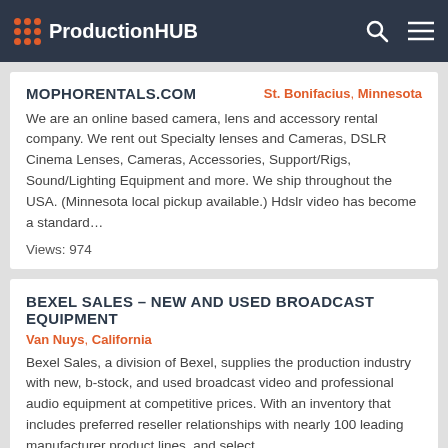ProductionHUB
MOPHORENTALS.COM
St. Bonifacius, Minnesota
We are an online based camera, lens and accessory rental company. We rent out Specialty lenses and Cameras, DSLR Cinema Lenses, Cameras, Accessories, Support/Rigs, Sound/Lighting Equipment and more. We ship throughout the USA. (Minnesota local pickup available.) Hdslr video has become a standard…
Views: 974
BEXEL SALES – NEW AND USED BROADCAST EQUIPMENT
Van Nuys, California
Bexel Sales, a division of Bexel, supplies the production industry with new, b-stock, and used broadcast video and professional audio equipment at competitive prices. With an inventory that includes preferred reseller relationships with nearly 100 leading manufacturer product lines, and select…
Views: 3788